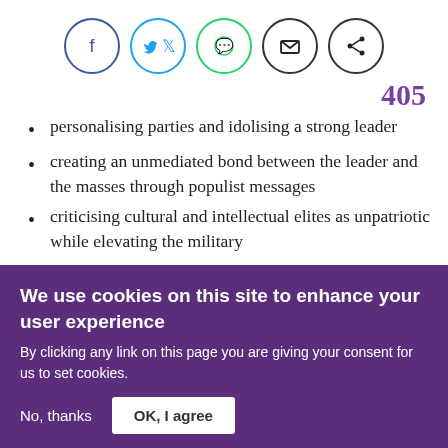[Figure (illustration): Row of five social sharing icon circles: Facebook (blue), Twitter (blue), WhatsApp (green), Email (black), Share (black)]
405
personalising parties and idolising a strong leader
creating an unmediated bond between the leader and the masses through populist messages
criticising cultural and intellectual elites as unpatriotic while elevating the military
manipulating and doctoring the law at will
attempting to gain soft or direct control over the
We use cookies on this site to enhance your user experience
By clicking any link on this page you are giving your consent for us to set cookies.
No, thanks    OK, I agree